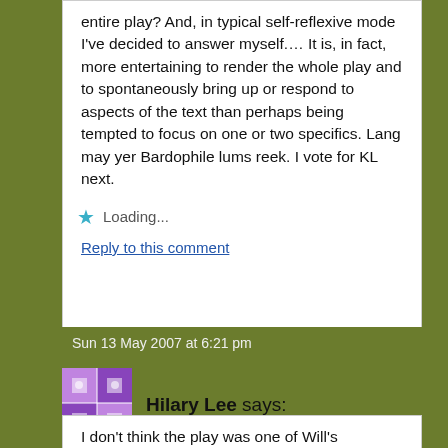entire play? And, in typical self-reflexive mode I've decided to answer myself.... It is, in fact, more entertaining to render the whole play and to spontaneously bring up or respond to aspects of the text than perhaps being tempted to focus on one or two specifics. Lang may yer Bardophile lums reek. I vote for KL next.
Loading...
Reply to this comment
Sun 13 May 2007 at 6:21 pm
Hilary Lee says:
I don't think the play was one of Will's